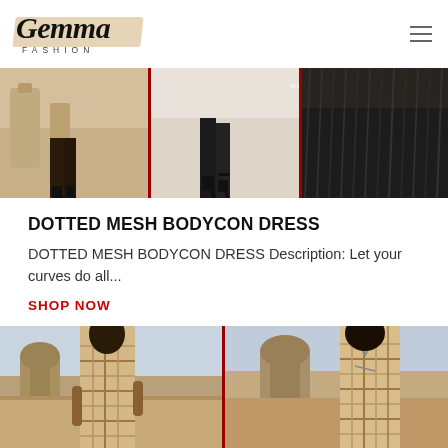[Figure (screenshot): Gemma Fashion website header with logo in script font and hamburger menu icon]
[Figure (photo): Banner image showing three panels of fashion photos with women's legs and heels, with text www.GemmaFashion.com]
DOTTED MESH BODYCON DRESS
DOTTED MESH BODYCON DRESS Description: Let your curves do all...
SHOP NOW
[Figure (photo): Two-panel photo of two women wearing striped/plaid bodycon dresses in an outdoor Mediterranean-style setting]